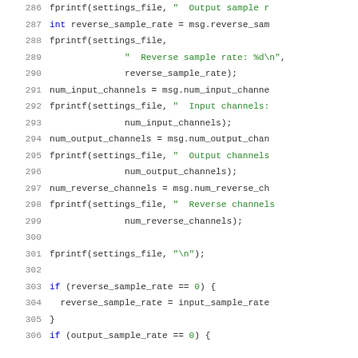[Figure (screenshot): Code editor screenshot showing lines 286-306 of C code with line numbers on the left, black and green monospace font on white background. Code involves fprintf and variable assignments for audio channel settings.]